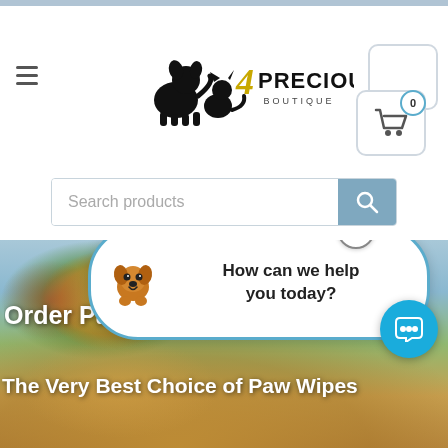[Figure (screenshot): Precious Paws Boutique e-commerce website screenshot showing header with logo, hamburger menu, shopping cart, search bar, and hero image with chat widget overlay. Text reads 'Order Pa...s i' and 'The Very Best Choice of Paw Wipes']
PRECIOUS PAWS BOUTIQUE
Search products
How can we help you today?
Order Pa... s i
The Very Best Choice of Paw Wipes